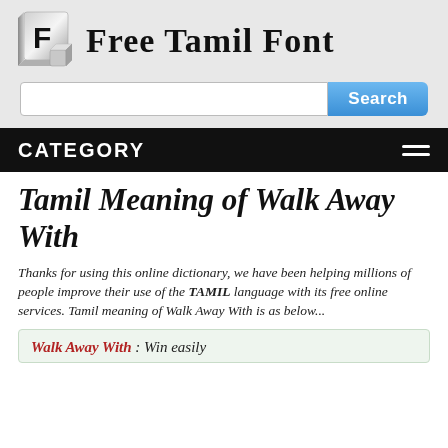[Figure (logo): Free Tamil Font website logo with stylized F icon and cursive script text 'Free Tamil Font']
[Figure (screenshot): Search input box with Search button]
CATEGORY
Tamil Meaning of Walk Away With
Thanks for using this online dictionary, we have been helping millions of people improve their use of the TAMIL language with its free online services. Tamil meaning of Walk Away With is as below...
Walk Away With : Win easily